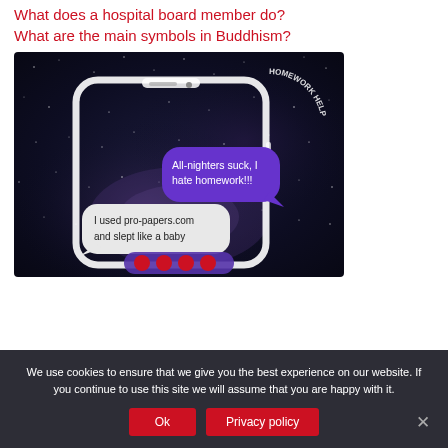What does a hospital board member do?
What are the main symbols in Buddhism?
[Figure (screenshot): Screenshot of a phone mockup with a starry space background and two chat bubbles. Purple bubble says 'All-nighters suck, I hate homework!!!' and a grey bubble says 'I used pro-papers.com and slept like a baby'. A circular logo reads 'HOMEWORK HELP' at the top right. Purple and red reaction emojis at the bottom.]
We use cookies to ensure that we give you the best experience on our website. If you continue to use this site we will assume that you are happy with it.